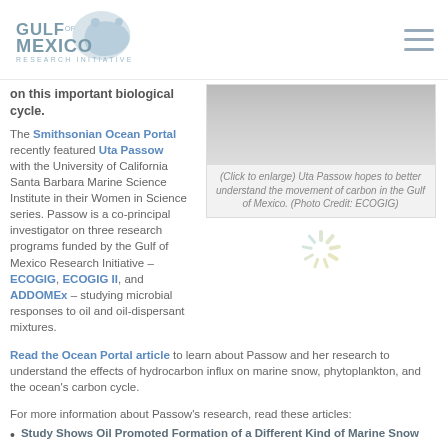Gulf of Mexico Research Initiative
on this important biological cycle.
[Figure (photo): Partial photo of a person in a dark setting, partially obscured]
(Click to enlarge) Uta Passow hopes to better understand the movement of carbon in the Gulf of Mexico. (Photo Credit: ECOGIG)
The Smithsonian Ocean Portal recently featured Uta Passow with the University of California Santa Barbara Marine Science Institute in their Women in Science series. Passow is a co-principal investigator on three research programs funded by the Gulf of Mexico Research Initiative – ECOGIG, ECOGIG II, and ADDOMEx – studying microbial responses to oil and oil-dispersant mixtures.
Read the Ocean Portal article to learn about Passow and her research to understand the effects of hydrocarbon influx on marine snow, phytoplankton, and the ocean's carbon cycle.
For more information about Passow's research, read these articles:
Study Shows Oil Promoted Formation of a Different Kind of Marine Snow